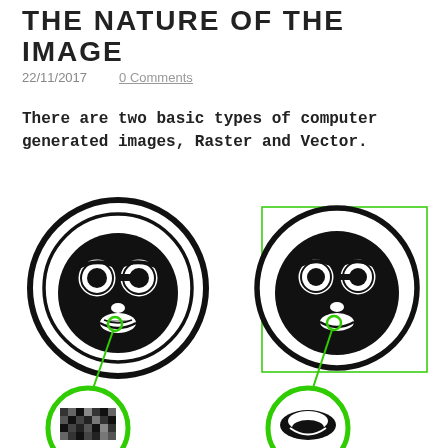THE NATURE OF THE IMAGE
22/11/2017   0 Comments
There are two basic types of computer generated images, Raster and Vector.
[Figure (illustration): Two circular face icons with glasses shown side by side. Left icon is clean vector-style black and white. Right icon has green bounding box overlay. Both have green zoom lines pointing down to magnified circle insets at the bottom showing pixelated (raster, left) and smooth (vector, right) detail of the mouth/lip area.]